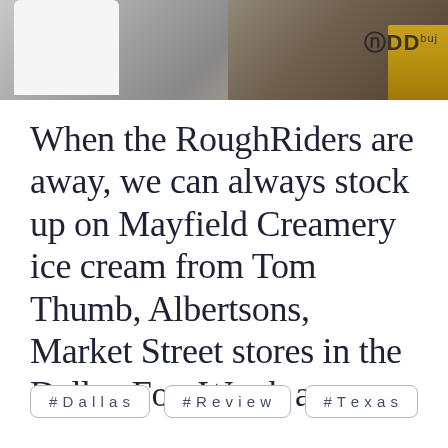[Figure (photo): Partial view of a white ice cream container and a dark background with a gold-framed element; overlay text showing 'ODD']
When the RoughRiders are away, we can always stock up on Mayfield Creamery ice cream from Tom Thumb, Albertsons, Market Street stores in the Dallas-Fort Worth area.
#Dallas
#Review
#Texas